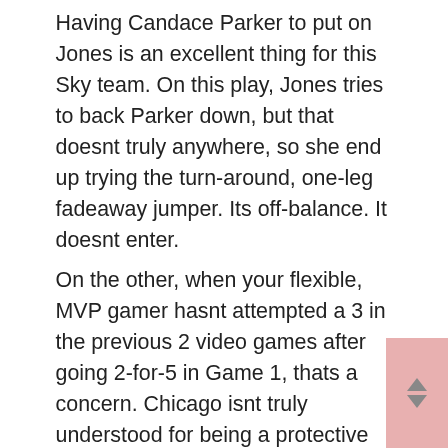Having Candace Parker to put on Jones is an excellent thing for this Sky team. On this play, Jones tries to back Parker down, but that doesnt truly anywhere, so she end up trying the turn-around, one-leg fadeaway jumper. Its off-balance. It doesnt enter.
On the other, when your flexible, MVP gamer hasnt attempted a 3 in the previous 2 video games after going 2-for-5 in Game 1, thats a concern. Chicago isnt truly understood for being a protective team, but its making it work in these playoffs.
Offensively, the Sky have upped the rate in the postseason. The group had a 79.6 speed in the routine season. In this series, thats up to 90.2. They likewise shot 36.4 percent and 45.0 percent in the two victories. Chicago has